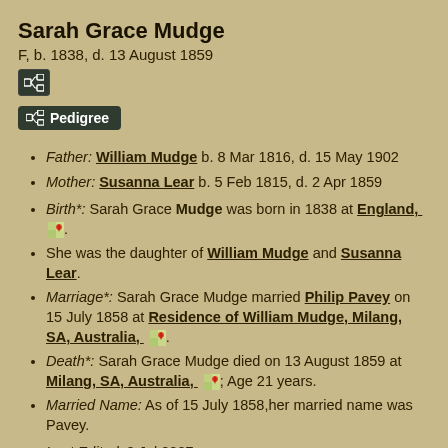Sarah Grace Mudge
F, b. 1838, d. 13 August 1859
[Figure (other): Small icon button with tree/pedigree symbol]
Pedigree button
Father: William Mudge b. 8 Mar 1816, d. 15 May 1902
Mother: Susanna Lear b. 5 Feb 1815, d. 2 Apr 1859
Birth*: Sarah Grace Mudge was born in 1838 at England,  [map icon].
She was the daughter of William Mudge and Susanna Lear.
Marriage*: Sarah Grace Mudge married Philip Pavey on 15 July 1858 at Residence of William Mudge, Milang, SA, Australia,  [map icon].
Death*: Sarah Grace Mudge died on 13 August 1859 at Milang, SA, Australia,  [map icon]; Age 21 years.
Married Name: As of 15 July 1858,her married name was Pavey.
Last Edited: 2 Jul 2007